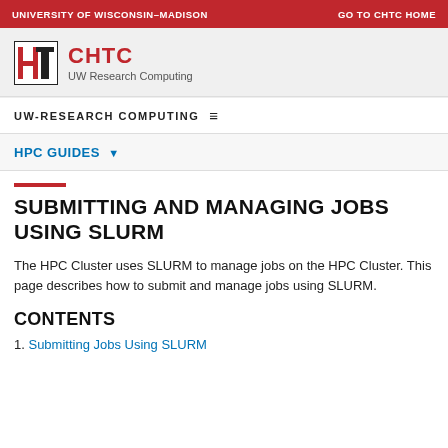UNIVERSITY of WISCONSIN–MADISON    GO TO CHTC HOME
[Figure (logo): CHTC logo with HT monogram and text 'CHTC UW Research Computing']
UW-RESEARCH COMPUTING  ≡
HPC GUIDES ▾
SUBMITTING AND MANAGING JOBS USING SLURM
The HPC Cluster uses SLURM to manage jobs on the HPC Cluster. This page describes how to submit and manage jobs using SLURM.
CONTENTS
1. Submitting Jobs Using SLURM